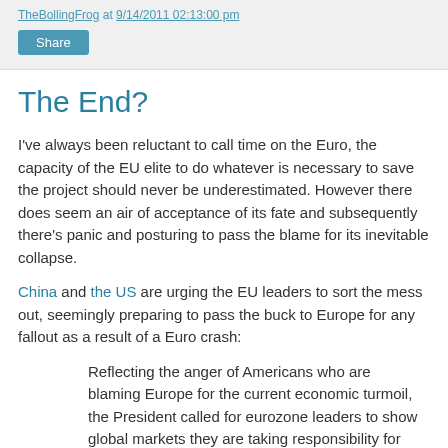TheBollingFrog at 9/14/2011 02:13:00 pm
The End?
I've always been reluctant to call time on the Euro, the capacity of the EU elite to do whatever is necessary to save the project should never be underestimated. However there does seem an air of acceptance of its fate and subsequently there's panic and posturing to pass the blame for its inevitable collapse.
China and the US are urging the EU leaders to sort the mess out, seemingly preparing to pass the buck to Europe for any fallout as a result of a Euro crash:
Reflecting the anger of Americans who are blaming Europe for the current economic turmoil, the President called for eurozone leaders to show global markets they are taking responsibility for the crisis.